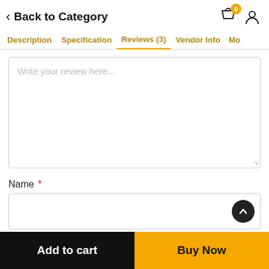< Back to Category
Description  Specification  Reviews (3)  Vendor Info  Mo
Write your review here...
Name *
Add to cart
Buy Now